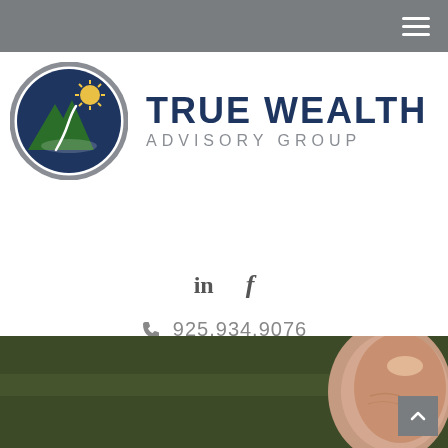Navigation header bar with hamburger menu
[Figure (logo): True Wealth Advisory Group logo: circular emblem with mountain, sun rays, and winding path in navy blue and green, beside the text TRUE WEALTH ADVISORY GROUP]
in f
925.934.9076
[Figure (photo): Bottom section showing a dark olive/green background with a person's finger visible at the right side, and a back-to-top arrow button on the lower right]